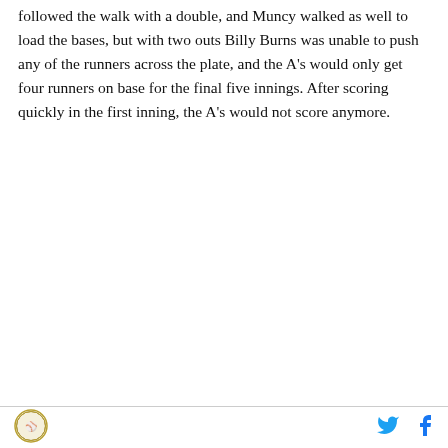followed the walk with a double, and Muncy walked as well to load the bases, but with two outs Billy Burns was unable to push any of the runners across the plate, and the A's would only get four runners on base for the final five innings. After scoring quickly in the first inning, the A's would not score anymore.
[Burns Nation logo] [Twitter icon] [Facebook icon]